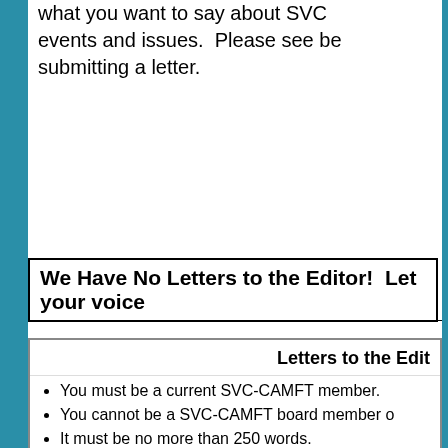what you want to say about SVC events and issues.  Please see be submitting a letter.
We Have No Letters to the Editor!  Let your voice
Letters to the Edit
You must be a current SVC-CAMFT member.
You cannot be a SVC-CAMFT board member o
It must be no more than 250 words.
You must send in your full name so I can verify
If you wish your name not to be published plea
Any letter published without a name will be liste license or Anonymous Associate
All letters must be respectful and without inapp calling.